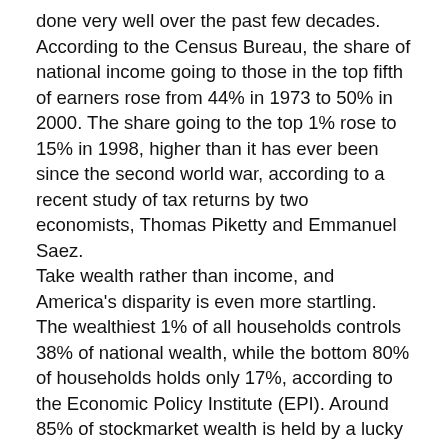done very well over the past few decades. According to the Census Bureau, the share of national income going to those in the top fifth of earners rose from 44% in 1973 to 50% in 2000. The share going to the top 1% rose to 15% in 1998, higher than it has ever been since the second world war, according to a recent study of tax returns by two economists, Thomas Piketty and Emmanuel Saez. Take wealth rather than income, and America's disparity is even more startling. The wealthiest 1% of all households controls 38% of national wealth, while the bottom 80% of households holds only 17%, according to the Economic Policy Institute (EPI). Around 85% of stockmarket wealth is held by a lucky 20%. If the rich have been doing much better than other Americans in relative terms, the poor have failed to improve their lot as they did in the 1950s and 1960s. The wage incomes of the bottom 20% of households have barely grown in real terms since the mid-1970s. As for wealth, the bottom fifth has debts that exceed its assets, making its wealth a negative number. The bottom fifth's percentage of national wealth worsened from -0.3% in 1983 to -0.6% in